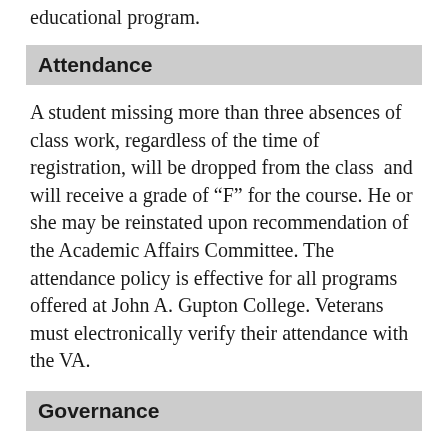educational program.
Attendance
A student missing more than three absences of class work, regardless of the time of registration, will be dropped from the class  and will receive a grade of “F” for the course. He or she may be reinstated upon recommendation of the Academic Affairs Committee. The attendance policy is effective for all programs offered at John A. Gupton College. Veterans must electronically verify their attendance with the VA.
Governance
The Catalog in effect at the time that a student is admitted will govern program requirements for